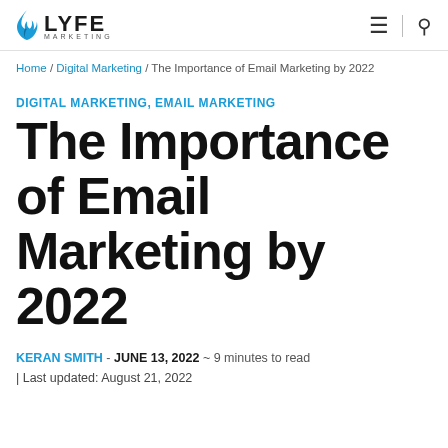LYFE MARKETING
Home / Digital Marketing / The Importance of Email Marketing by 2022
DIGITAL MARKETING, EMAIL MARKETING
The Importance of Email Marketing by 2022
KERAN SMITH - JUNE 13, 2022 ~ 9 minutes to read | Last updated: August 21, 2022